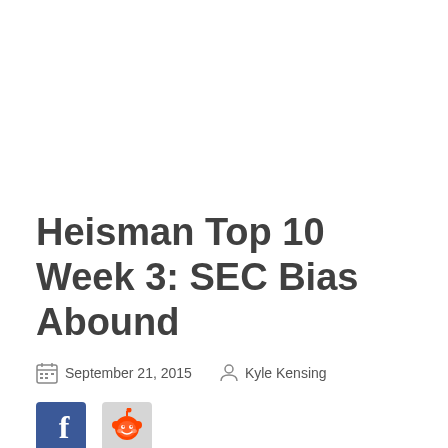Heisman Top 10 Week 3: SEC Bias Abound
September 21, 2015   Kyle Kensing
[Figure (logo): Facebook logo icon (blue square with white F)]
[Figure (logo): Reddit alien logo icon (grey square with reddit snoo mascot)]
Though SEC dominance is under rightful scrutiny three weeks into the college football season, the conference dominates the early Heisman conversation.